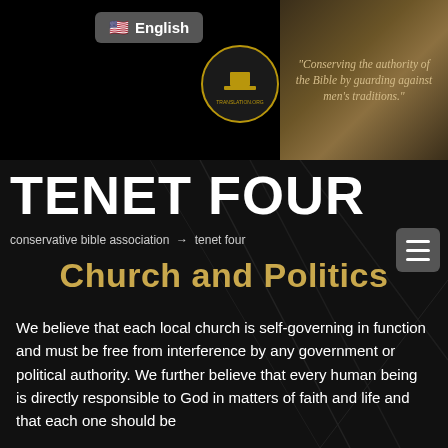[Figure (screenshot): Website header with language selector button showing US flag and 'English' text, a circular logo/seal, and a dark map background with italic quote text reading 'Conserving the authority of the Bible by guarding against men's traditions.']
TENET FOUR
conservative bible association → tenet four
Church and Politics
We believe that each local church is self-governing in function and must be free from interference by any government or political authority. We further believe that every human being is directly responsible to God in matters of faith and life and that each one should be